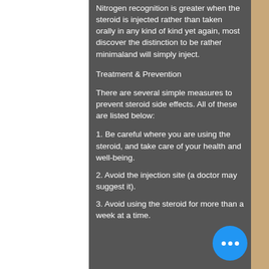Nitrogen recognition is greater when the steroid is injected rather than taken orally in any kind of kind yet again, most discover the distinction to be rather minimaland will simply inject.
Treatment & Prevention
There are several simple measures to prevent steroid side effects. All of these are listed below:
1. Be careful where you are using the steroid, and take care of your health and well-being.
2. Avoid the injection site (a doctor may suggest it).
3. Avoid using the steroid for more than a week at a time.